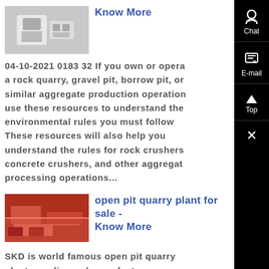[Figure (photo): Thumbnail of industrial equipment or quarry machinery, white/grey tones]
Know More
04-10-2021 0183 32 If you own or operate a rock quarry, gravel pit, borrow pit, or similar aggregate production operation, use these resources to understand the environmental rules you must follow These resources will also help you understand the rules for rock crushers, concrete crushers, and other aggregate processing operations...
[Figure (photo): Thumbnail of open pit quarry plant with orange/red colored surfaces]
open pit quarry plant for sale - Know More
SKD is world famous open pit quarry plant supplier and manufacturer, we provide complete range of open pit